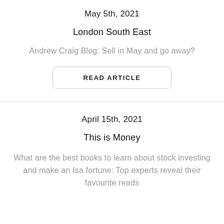May 5th, 2021
London South East
Andrew Craig Blog: Sell in May and go away?
READ ARTICLE
April 15th, 2021
This is Money
What are the best books to learn about stock investing and make an Isa fortune: Top experts reveal their favourite reads